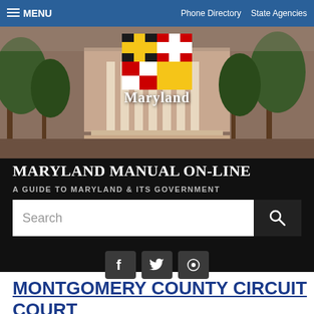≡ MENU   Phone Directory   State Agencies
[Figure (photo): Maryland state government website header showing a brick building with columns, trees, and the Maryland state flag logo with the word 'Maryland' below it]
MARYLAND MANUAL ON-LINE
A GUIDE TO MARYLAND & ITS GOVERNMENT
Search
[Figure (infographic): Social media icons: Facebook, Twitter, and another social platform]
MONTGOMERY COUNTY CIRCUIT COURT